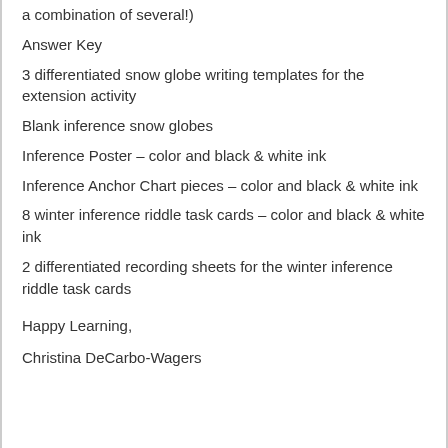a combination of several!)
Answer Key
3 differentiated snow globe writing templates for the extension activity
Blank inference snow globes
Inference Poster – color and black & white ink
Inference Anchor Chart pieces – color and black & white ink
8 winter inference riddle task cards – color and black & white ink
2 differentiated recording sheets for the winter inference riddle task cards
Happy Learning,
Christina DeCarbo-Wagers